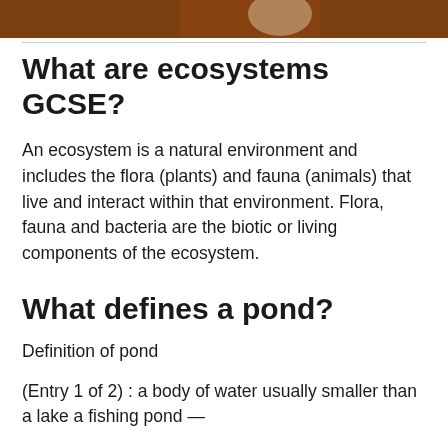[Figure (photo): Partial image with brown/earth tones, appears to be a nature or ecosystem-related photograph cropped at the top of the page.]
What are ecosystems GCSE?
An ecosystem is a natural environment and includes the flora (plants) and fauna (animals) that live and interact within that environment. Flora, fauna and bacteria are the biotic or living components of the ecosystem.
What defines a pond?
Definition of pond
(Entry 1 of 2) : a body of water usually smaller than a lake a fishing pond —